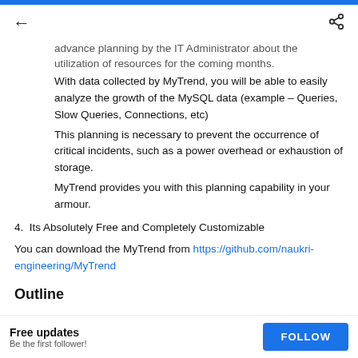← (back) | (share)
advance planning by the IT Administrator about the utilization of resources for the coming months.
With data collected by MyTrend, you will be able to easily analyze the growth of the MySQL data (example – Queries, Slow Queries, Connections, etc)
This planning is necessary to prevent the occurrence of critical incidents, such as a power overhead or exhaustion of storage.
MyTrend provides you with this planning capability in your armour.
4. Its Absolutely Free and Completely Customizable
You can download the MyTrend from https://github.com/naukri-engineering/MyTrend
Outline
Free updates | Be the first follower! | FOLLOW